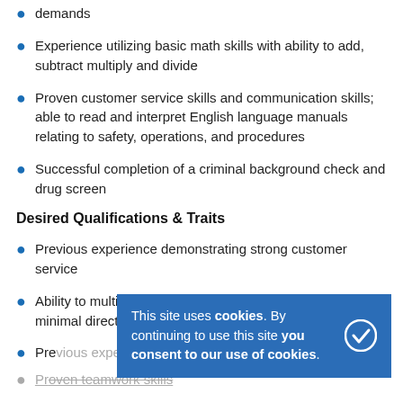demands
Experience utilizing basic math skills with ability to add, subtract multiply and divide
Proven customer service skills and communication skills; able to read and interpret English language manuals relating to safety, operations, and procedures
Successful completion of a criminal background check and drug screen
Desired Qualifications & Traits
Previous experience demonstrating strong customer service
Ability to multi-task and prioritize a variety of tasks with minimal direction
Previous experience with Point of Sale systems
Proven teamwork skills
This site uses cookies. By continuing to use this site you consent to our use of cookies.